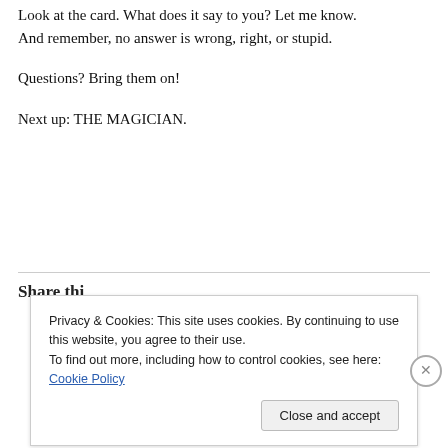Look at the card. What does it say to you? Let me know. And remember, no answer is wrong, right, or stupid.
Questions? Bring them on!
Next up: THE MAGICIAN.
Share this
Privacy & Cookies: This site uses cookies. By continuing to use this website, you agree to their use.
To find out more, including how to control cookies, see here: Cookie Policy